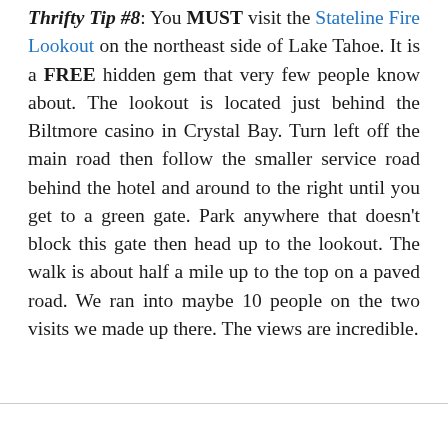Thrifty Tip #8: You MUST visit the Stateline Fire Lookout on the northeast side of Lake Tahoe. It is a FREE hidden gem that very few people know about. The lookout is located just behind the Biltmore casino in Crystal Bay. Turn left off the main road then follow the smaller service road behind the hotel and around to the right until you get to a green gate. Park anywhere that doesn't block this gate then head up to the lookout. The walk is about half a mile up to the top on a paved road. We ran into maybe 10 people on the two visits we made up there. The views are incredible.